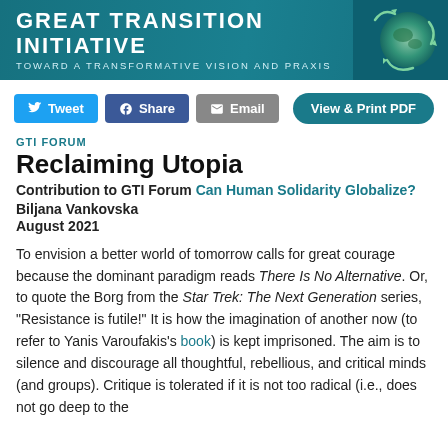Great Transition Initiative — Toward a Transformative Vision and Praxis
GTI FORUM
Reclaiming Utopia
Contribution to GTI Forum Can Human Solidarity Globalize?
Biljana Vankovska
August 2021
To envision a better world of tomorrow calls for great courage because the dominant paradigm reads There Is No Alternative. Or, to quote the Borg from the Star Trek: The Next Generation series, "Resistance is futile!" It is how the imagination of another now (to refer to Yanis Varoufakis's book) is kept imprisoned. The aim is to silence and discourage all thoughtful, rebellious, and critical minds (and groups). Critique is tolerated if it is not too radical (i.e., does not go deep to the